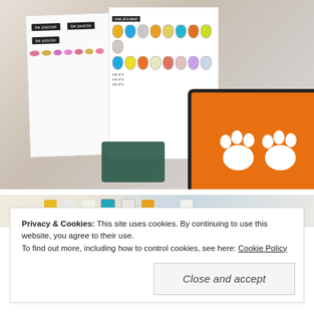[Figure (photo): Craft cards with flamingo and animal stamp patterns, an orange ink pad with paw prints, and a dark green ink pad, arranged on a grey marble surface.]
[Figure (photo): Partial strip image showing colorful animal stamp patterned paper — cats, bunnies, and other creatures in yellow, teal, and grey on white background.]
Privacy & Cookies: This site uses cookies. By continuing to use this website, you agree to their use.
To find out more, including how to control cookies, see here: Cookie Policy
Close and accept